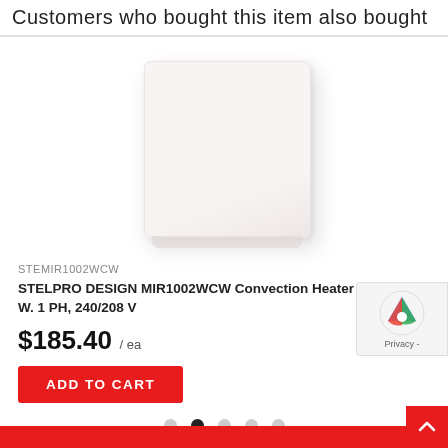Customers who bought this item also bought
[Figure (photo): White square convection heater product photo on white background]
STEMIR1002WCW
STELPRO DESIGN MIR1002WCW Convection Heater 1000/750 W. 1 PH, 240/208 V
$185.40 / ea
ADD TO CART
Emergency Service
1 (800) 363-0303